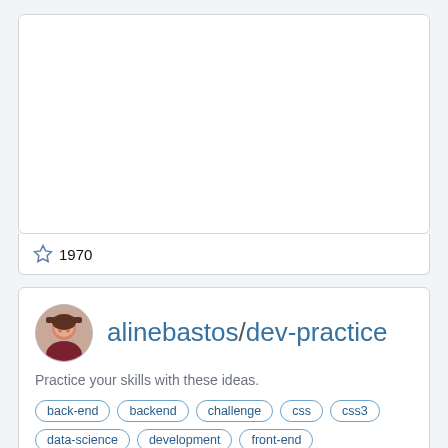[Figure (screenshot): Top card area with blank white content (partially visible repository card)]
☆ 1970
[Figure (screenshot): Repository card for alinebastos/dev-practice on GitHub]
alinebastos/dev-practice
Practice your skills with these ideas.
back-end
backend
challenge
css
css3
data-science
development
front-end
front-end-development
frontend
frontend-practice
[Figure (illustration): Bibi and Tina advertisement banner with cartoon characters on horses]
Bibi and Tina English YouTube
Ad